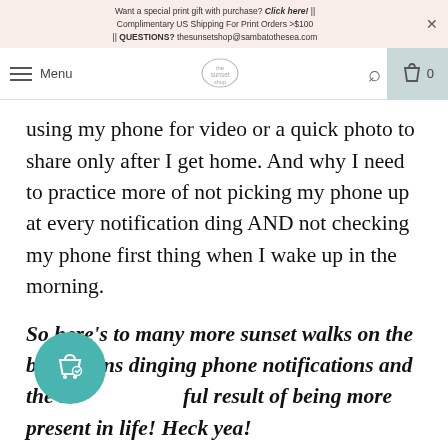Want a special print gift with purchase? Click here! || Complimentary US Shipping For Print Orders >$100 × || QUESTIONS? thesunsetshop@sambatothesea.com
Menu [logo] [search] [cart] 0
using my phone for video or a quick photo to share only after I get home. And why I need to practice more of not picking my phone up at every notification ding AND not checking my phone first thing when I wake up in the morning.
So here's to many more sunset walks on the beach sans dinging phone notifications and the beautiful result of being more present in life! Heck yea!